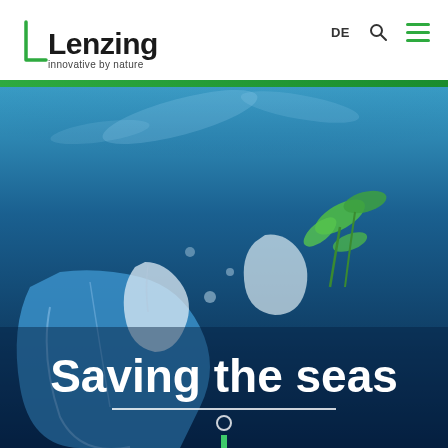[Figure (logo): Lenzing logo with tagline 'innovative by nature' and navigation icons DE, search, hamburger menu]
[Figure (photo): Underwater ocean scene showing plastic bags and green leaves floating in deep blue water, with white text overlay 'Saving the seas' and decorative line/circle/vertical bar beneath]